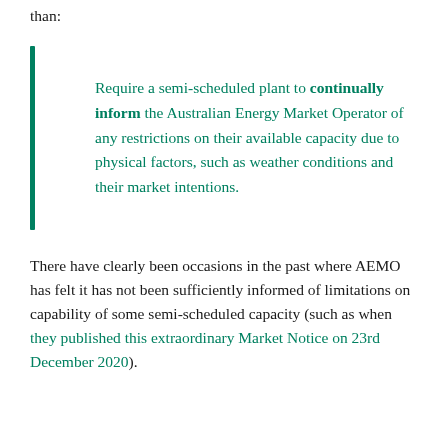than:
Require a semi-scheduled plant to continually inform the Australian Energy Market Operator of any restrictions on their available capacity due to physical factors, such as weather conditions and their market intentions.
There have clearly been occasions in the past where AEMO has felt it has not been sufficiently informed of limitations on capability of some semi-scheduled capacity (such as when they published this extraordinary Market Notice on 23rd December 2020).